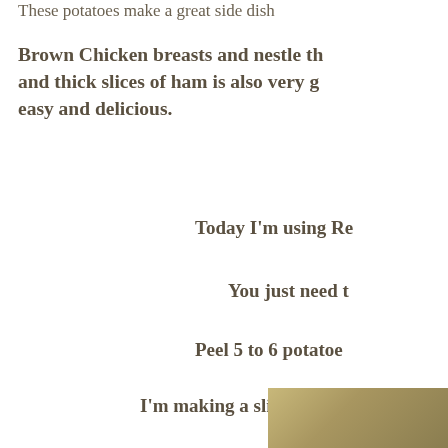These potatoes make a great side dish
Brown Chicken breasts and nestle th... and thick slices of ham is also very g... easy and delicious.
Today I'm using Re
You just need t
Peel 5 to 6 potatoe
I'm making a slightly sma
[Figure (photo): Photo of potatoes or food dish, partially visible at bottom right]